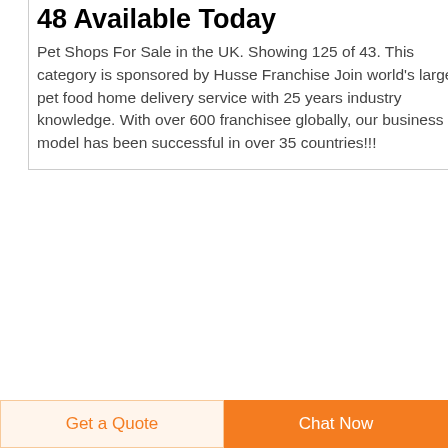48 Available Today
Pet Shops For Sale in the UK. Showing 125 of 43. This category is sponsored by Husse Franchise Join world's largest pet food home delivery service with 25 years industry knowledge. With over 600 franchisee globally, our business model has been successful in over 35 countries!!!
[Figure (illustration): Dark navy circular button with upward arrow icon, used for scroll-to-top navigation]
[Figure (logo): Pets4Homes logo - colorful paw print style icon]
Pets4Homes Dogs, Puppies,
Get a Quote
Chat Now